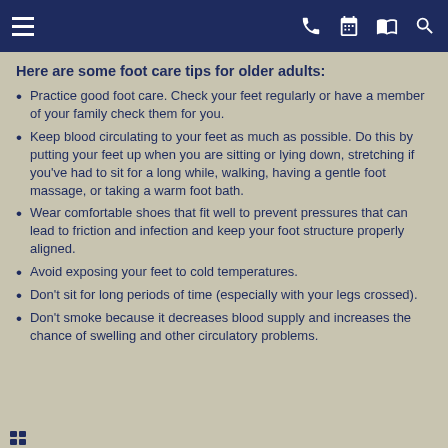[Navigation bar with menu, phone, calendar, map, and search icons]
Here are some foot care tips for older adults:
Practice good foot care. Check your feet regularly or have a member of your family check them for you.
Keep blood circulating to your feet as much as possible. Do this by putting your feet up when you are sitting or lying down, stretching if you've had to sit for a long while, walking, having a gentle foot massage, or taking a warm foot bath.
Wear comfortable shoes that fit well to prevent pressures that can lead to friction and infection and keep your foot structure properly aligned.
Avoid exposing your feet to cold temperatures.
Don't sit for long periods of time (especially with your legs crossed).
Don't smoke because it decreases blood supply and increases the chance of swelling and other circulatory problems.